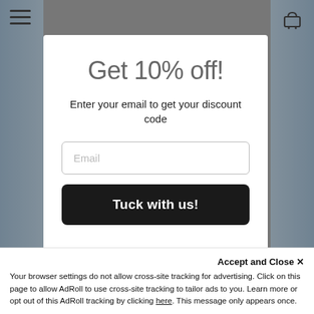[Figure (screenshot): Website modal popup over a blurred e-commerce page. Top-left shows a hamburger menu icon, top-right shows a shopping cart icon. A white modal dialog is centered with a discount offer.]
Get 10% off!
Enter your email to get your discount code
Email
Tuck with us!
Accept and Close ✕
Your browser settings do not allow cross-site tracking for advertising. Click on this page to allow AdRoll to use cross-site tracking to tailor ads to you. Learn more or opt out of this AdRoll tracking by clicking here. This message only appears once.